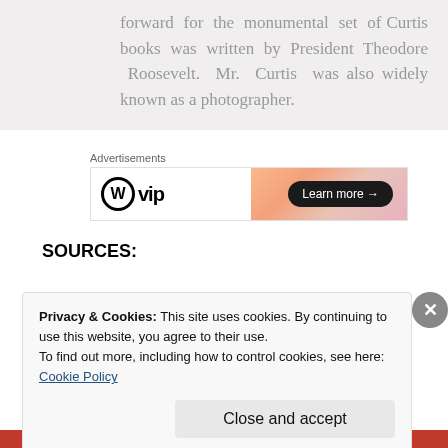forward for the monumental set of Curtis books was written by President Theodore Roosevelt. Mr. Curtis was also widely known as a photographer.
Advertisements
[Figure (screenshot): WordPress VIP advertisement banner with orange-pink gradient background and 'Learn more →' button]
SOURCES:
Privacy & Cookies: This site uses cookies. By continuing to use this website, you agree to their use.
To find out more, including how to control cookies, see here: Cookie Policy
Close and accept